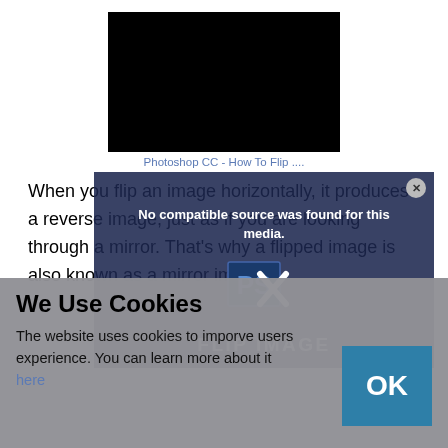[Figure (screenshot): Black video player placeholder rectangle]
Photoshop CC - How To Flip ....
When you flip an image horizontally, it produces a reverse image, just as if you are looking through a mirror. That’s why a flipped image is also known as a mirror image.
[Figure (screenshot): Video popup overlay with message 'No compatible source was found for this media.' and FLIP IMAGE branding with X close button]
We Use Cookies
The website uses cookies to imporve users experience. You can learn more about it here